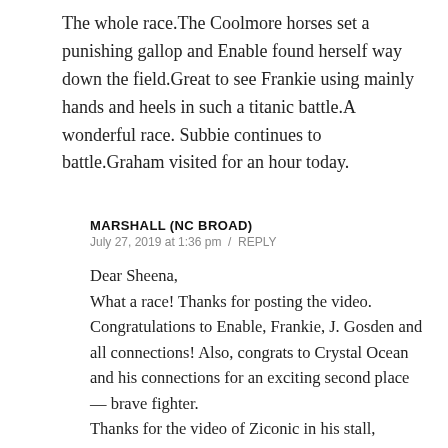The whole race.The Coolmore horses set a punishing gallop and Enable found herself way down the field.Great to see Frankie using mainly hands and heels in such a titanic battle.A wonderful race. Subbie continues to battle.Graham visited for an hour today.
MARSHALL (NC BROAD)
July 27, 2019 at 1:36 pm / REPLY
Dear Sheena,
What a race! Thanks for posting the video.
Congratulations to Enable, Frankie, J. Gosden and all connections! Also, congrats to Crystal Ocean and his connections for an exciting second place — brave fighter.
Thanks for the video of Ziconic in his stall, Sheena.